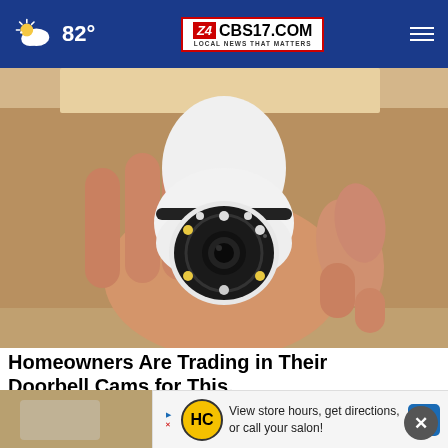82° CBS17.COM LOCAL NEWS THAT MATTERS
[Figure (photo): A hand holding a white bulb-shaped security camera with a round lens and LED ring, shown in close-up against a wooden background]
Homeowners Are Trading in Their Doorbell Cams for This.
Kellini.com
[Figure (infographic): Advertisement banner: HC logo with text 'View store hours, get directions, or call your salon!' with navigation arrow]